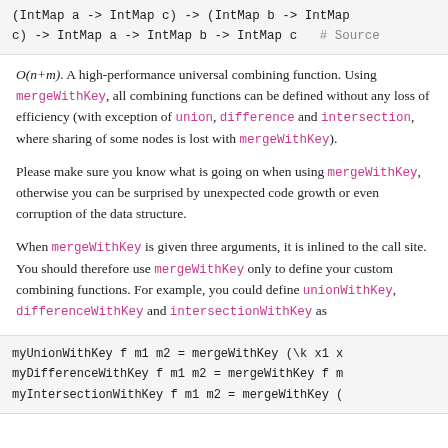(IntMap a -> IntMap c) -> (IntMap b -> IntMap c) -> IntMap a -> IntMap b -> IntMap c  # Source
O(n+m). A high-performance universal combining function. Using mergeWithKey, all combining functions can be defined without any loss of efficiency (with exception of union, difference and intersection, where sharing of some nodes is lost with mergeWithKey).
Please make sure you know what is going on when using mergeWithKey, otherwise you can be surprised by unexpected code growth or even corruption of the data structure.
When mergeWithKey is given three arguments, it is inlined to the call site. You should therefore use mergeWithKey only to define your custom combining functions. For example, you could define unionWithKey, differenceWithKey and intersectionWithKey as
myUnionWithKey f m1 m2 = mergeWithKey (\k x1 x
myDifferenceWithKey f m1 m2 = mergeWithKey f m
myIntersectionWithKey f m1 m2 = mergeWithKey (